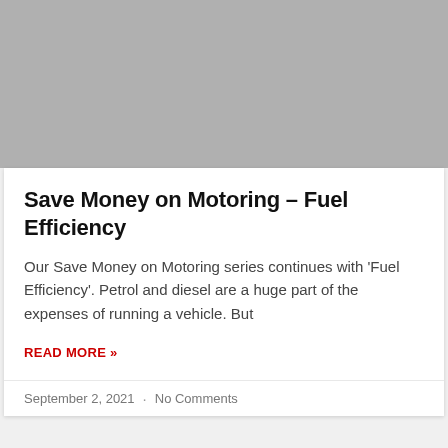[Figure (photo): Gray placeholder image area at the top of a blog article card]
Save Money on Motoring – Fuel Efficiency
Our Save Money on Motoring series continues with 'Fuel Efficiency'. Petrol and diesel are a huge part of the expenses of running a vehicle. But
READ MORE »
September 2, 2021  ·  No Comments